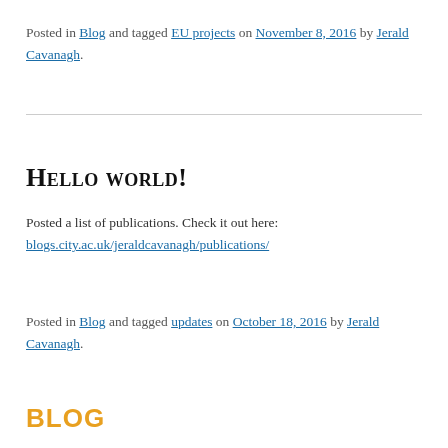Posted in Blog and tagged EU projects on November 8, 2016 by Jerald Cavanagh.
Hello world!
Posted a list of publications. Check it out here: blogs.city.ac.uk/jeraldcavanagh/publications/
Posted in Blog and tagged updates on October 18, 2016 by Jerald Cavanagh.
BLOG